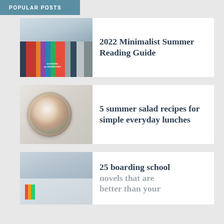POPULAR POSTS
2022 Minimalist Summer Reading Guide
5 summer salad recipes for simple everyday lunches
25 boarding school novels that are better than your